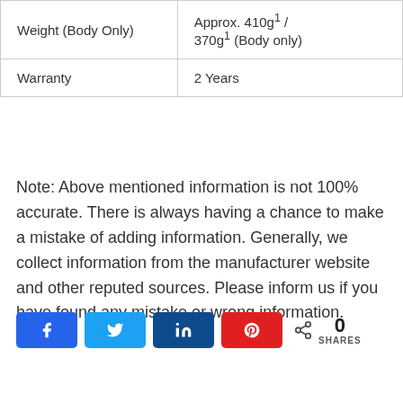| Weight (Body Only) | Approx. 410g¹ / 370g¹ (Body only) |
| Warranty | 2 Years |
Note: Above mentioned information is not 100% accurate. There is always having a chance to make a mistake of adding information. Generally, we collect information from the manufacturer website and other reputed sources. Please inform us if you have found any mistake or wrong information.